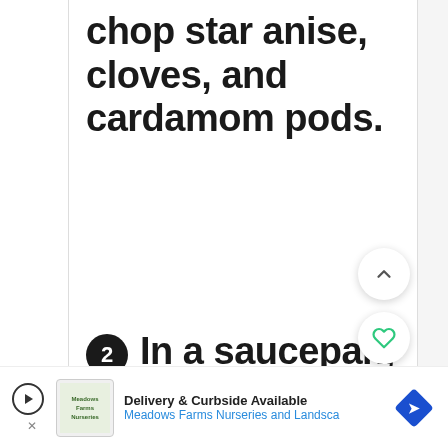chop star anise, cloves, and cardamom pods.
2 In a saucepan, add all ingredients for the i...
[Figure (screenshot): Advertisement bar at bottom: Delivery & Curbside Available - Meadows Farms Nurseries and Landsca]